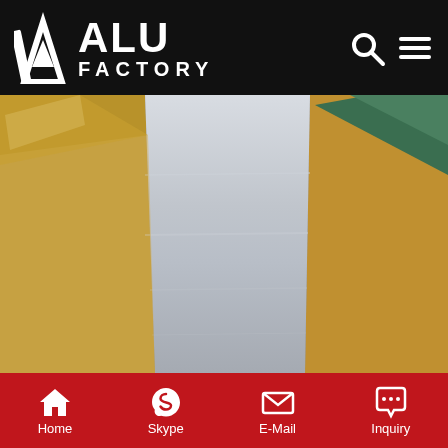ALU FACTORY
[Figure (photo): Close-up photograph of a metallic aluminum sheet or coil, shiny silver surface, with brown kraft paper wrapping visible on sides and green/teal material in upper right corner. Industrial product packaging.]
China ACP, Coated Aluminum Coil, Curtain Wall Supplier IDEABOND--SHAPE YOUR IDEA, BOND THE FUTURE_ This claim underlines our vision to make the world better and more beautiful with our brands and technologies. IDEABOND, headquartered in Foshan/China, has about 60, 000m2 manufacture plants, and 10 million USD investments engaging in aluminum composite material, color
Home  Skype  E-Mail  Inquiry